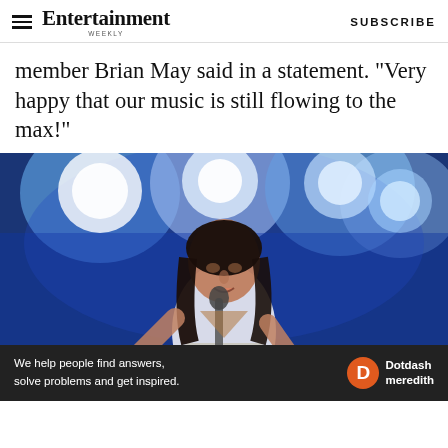Entertainment Weekly — SUBSCRIBE
member Brian May said in a statement. “Very happy that our music is still flowing to the max!”
[Figure (photo): Freddie Mercury performing on stage, singing into a microphone, wearing a white outfit, with blue stage lighting in the background.]
We help people find answers, solve problems and get inspired. Dotdash meredith